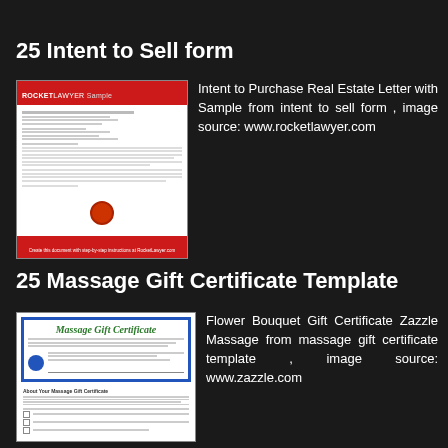25 Intent to Sell form
[Figure (screenshot): Screenshot of a Rocket Lawyer Sample Intent to Purchase Real Estate Letter document]
Intent to Purchase Real Estate Letter with Sample from intent to sell form , image source: www.rocketlawyer.com
25 Massage Gift Certificate Template
[Figure (screenshot): Screenshot of a Massage Gift Certificate template document]
Flower Bouquet Gift Certificate Zazzle Massage from massage gift certificate template , image source: www.zazzle.com